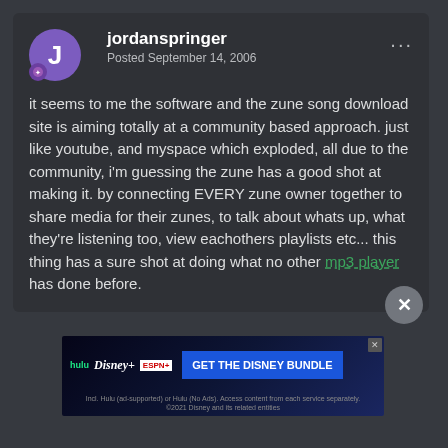jordanspringer
Posted September 14, 2006
it seems to me the software and the zune song download site is aiming totally at a community based approach. just like youtube, and myspace which exploded, all due to the community, i'm guessing the zune has a good shot at making it. by connecting EVERY zune owner together to share media for their zunes, to talk about whats up, what they're listening too, view eachothers playlists etc... this thing has a sure shot at doing what no other mp3 player has done before.
[Figure (screenshot): Disney Bundle advertisement banner showing Hulu, Disney+, and ESPN+ logos with 'GET THE DISNEY BUNDLE' call to action button]